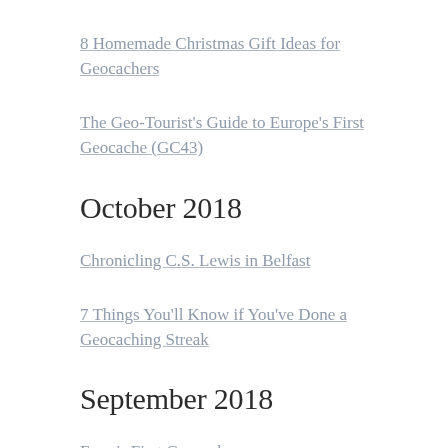8 Homemade Christmas Gift Ideas for Geocachers
The Geo-Tourist's Guide to Europe's First Geocache (GC43)
October 2018
Chronicling C.S. Lewis in Belfast
7 Things You'll Know if You've Done a Geocaching Streak
September 2018
Emer's First Geocache